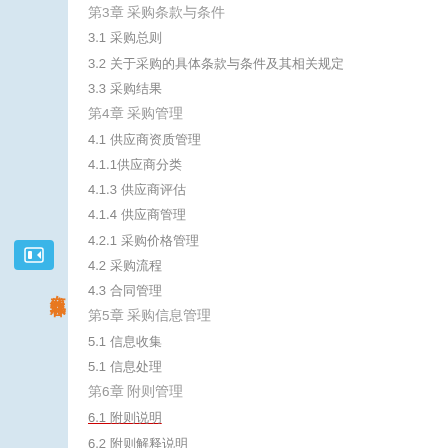第3章 采购条款与条件
3.1 采购总则
3.2 关于采购的具体条款与条件及其相关规定
3.3 采购结果
第4章 采购管理
4.1 供应商资质管理
4.1.1供应商分类
4.1.3 供应商评估
4.1.4 供应商管理
4.2.1 采购价格管理
4.2 采购流程
4.3 合同管理
第5章 采购信息管理
5.1 信息收集
5.1 信息处理
第6章 附则管理
6.1 附则说明
6.2 附则解释说明